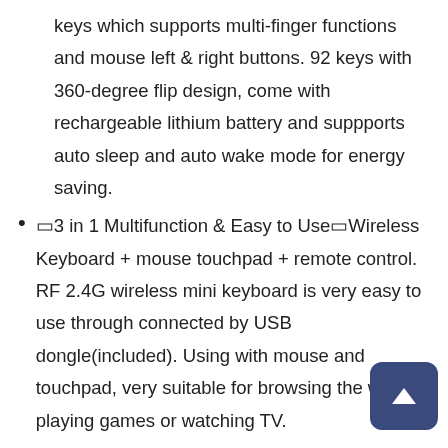keys which supports multi-finger functions and mouse left & right buttons. 92 keys with 360-degree flip design, come with rechargeable lithium battery and suppports auto sleep and auto wake mode for energy saving.
〖3 in 1 Multifunction & Easy to Use〗Wireless Keyboard + mouse touchpad + remote control. RF 2.4G wireless mini keyboard is very easy to use through connected by USB dongle(included). Using with mouse and touchpad, very suitable for browsing the web, playing games or watching TV.
〖Sensitive Multi-finger Touchpad〗Mini wireless QWERTY keyboard touchpad for easy and accurate manipulation, matching different sizes of screen, single finger click as left mouse, two-finger click as